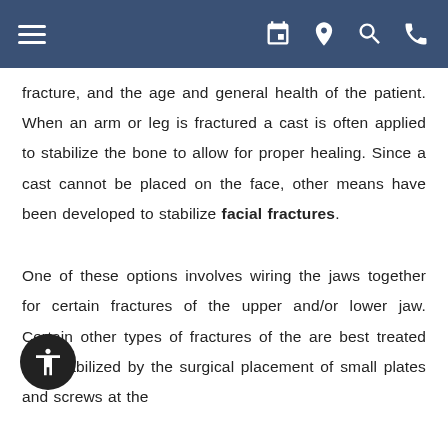Navigation header with menu and icons
fracture, and the age and general health of the patient. When an arm or leg is fractured a cast is often applied to stabilize the bone to allow for proper healing. Since a cast cannot be placed on the face, other means have been developed to stabilize facial fractures.
One of these options involves wiring the jaws together for certain fractures of the upper and/or lower jaw. Certain other types of fractures of the are best treated and stabilized by the surgical placement of small plates and screws at the